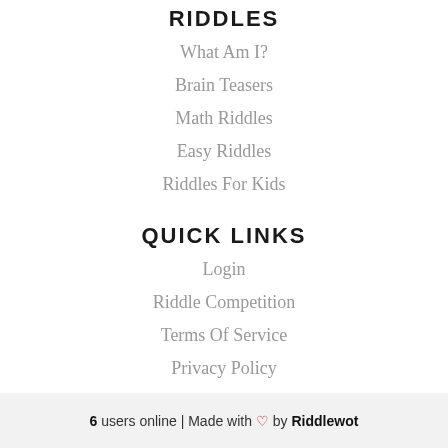RIDDLES
What Am I?
Brain Teasers
Math Riddles
Easy Riddles
Riddles For Kids
QUICK LINKS
Login
Riddle Competition
Terms Of Service
Privacy Policy
6 users online | Made with ♡ by Riddlewot